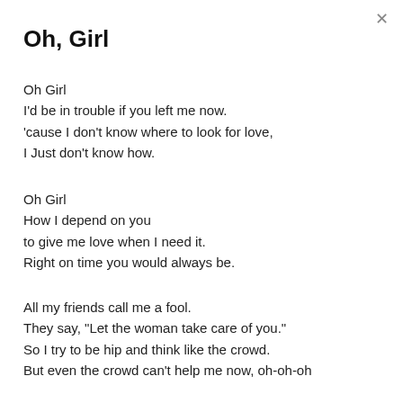Oh, Girl
Oh Girl
I'd be in trouble if you left me now.
'cause I don't know where to look for love,
I Just don't know how.
Oh Girl
How I depend on you
to give me love when I need it.
Right on time you would always be.
All my friends call me a fool.
They say, "Let the woman take care of you."
So I try to be hip and think like the crowd.
But even the crowd can't help me now, oh-oh-oh